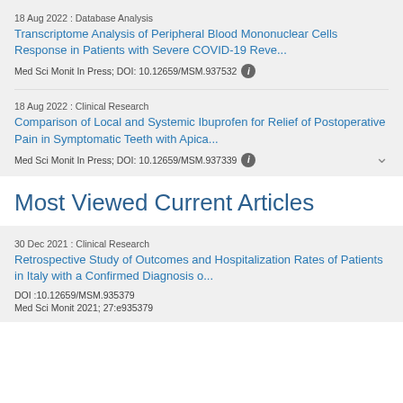18 Aug 2022 : Database Analysis
Transcriptome Analysis of Peripheral Blood Mononuclear Cells Response in Patients with Severe COVID-19 Reve...
Med Sci Monit In Press; DOI: 10.12659/MSM.937532
18 Aug 2022 : Clinical Research
Comparison of Local and Systemic Ibuprofen for Relief of Postoperative Pain in Symptomatic Teeth with Apica...
Med Sci Monit In Press; DOI: 10.12659/MSM.937339
Most Viewed Current Articles
30 Dec 2021 : Clinical Research
Retrospective Study of Outcomes and Hospitalization Rates of Patients in Italy with a Confirmed Diagnosis o...
DOI :10.12659/MSM.935379
Med Sci Monit 2021; 27:e935379